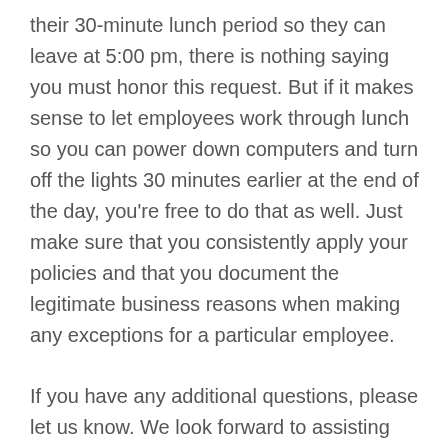their 30-minute lunch period so they can leave at 5:00 pm, there is nothing saying you must honor this request. But if it makes sense to let employees work through lunch so you can power down computers and turn off the lights 30 minutes earlier at the end of the day, you're free to do that as well. Just make sure that you consistently apply your policies and that you document the legitimate business reasons when making any exceptions for a particular employee.
If you have any additional questions, please let us know. We look forward to assisting you again soon!